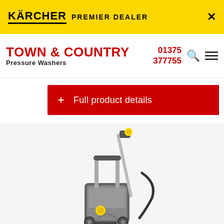KÄRCHER PREMIER DEALER
TOWN & COUNTRY Pressure Washers
01375 377755
+ Full product details
[Figure (photo): Kärcher HD series professional pressure washer machine, grey and black body with yellow accents, with lance/gun and hose attached, standing upright on wheels]